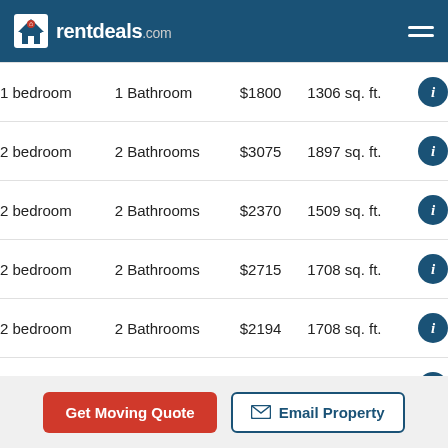rentdeals.com
| Bedrooms | Bathrooms | Price | Size | Info |
| --- | --- | --- | --- | --- |
| 1 bedroom | 1 Bathroom | $1800 | 1306 sq. ft. | i |
| 2 bedroom | 2 Bathrooms | $3075 | 1897 sq. ft. | i |
| 2 bedroom | 2 Bathrooms | $2370 | 1509 sq. ft. | i |
| 2 bedroom | 2 Bathrooms | $2715 | 1708 sq. ft. | i |
| 2 bedroom | 2 Bathrooms | $2194 | 1708 sq. ft. | i |
| 2 bedroom | 2 Bathrooms | $3330 | 1897 sq. ft. | i |
| 2 bedroom | 2 Bathrooms | $2447 | 1708 sq. ft. | i |
Get Moving Quote | Email Property